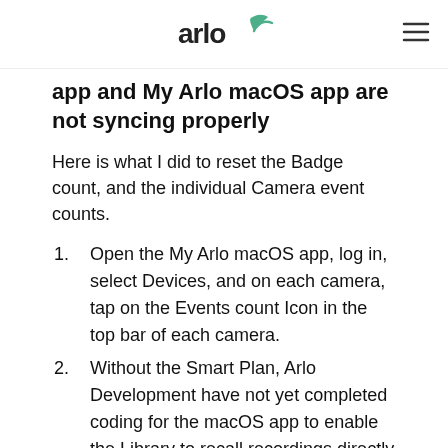arlo
app and My Arlo macOS app are not syncing properly
Here is what I did to reset the Badge count, and the individual Camera event counts.
Open the My Arlo macOS app, log in, select Devices, and on each camera, tap on the Events count Icon in the top bar of each camera.
Without the Smart Plan, Arlo Development have not yet completed coding for the macOS app to enable the Library to recall recordings directly from the SD Card, so “No recordings”